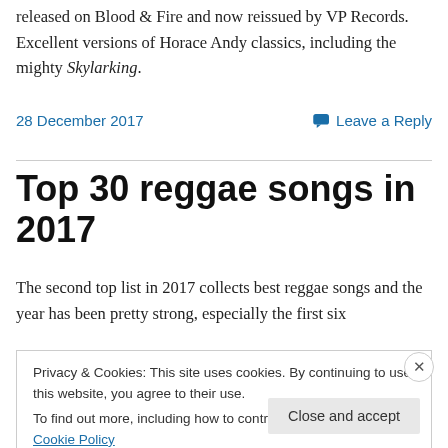released on Blood & Fire and now reissued by VP Records. Excellent versions of Horace Andy classics, including the mighty Skylarking.
28 December 2017
Leave a Reply
Top 30 reggae songs in 2017
The second top list in 2017 collects best reggae songs and the year has been pretty strong, especially the first six
Privacy & Cookies: This site uses cookies. By continuing to use this website, you agree to their use.
To find out more, including how to control cookies, see here: Cookie Policy
Close and accept